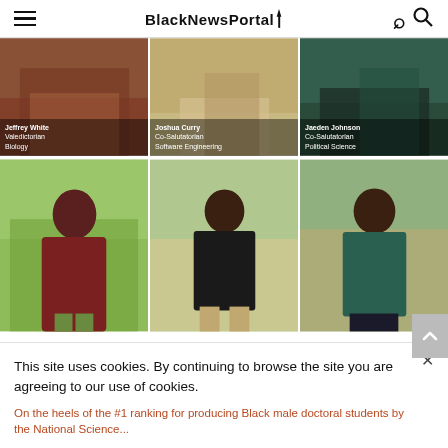BlackNewsPortal
[Figure (photo): Three photos in a row showing young Black men. Left: Jeffrey White, Valedictorian, Biology. Center: Joshua Curry, Co-Salutatorian, Software Engineering. Right: Jaeden Johnson, Co-Salutatorian, Political Science.]
[Figure (photo): Three full-body photos in a row of the same young men: Jeffrey White in maroon polo, Joshua Curry in black shirt seated, Jaeden Johnson in teal striped shirt seated.]
This site uses cookies. By continuing to browse the site you are agreeing to our use of cookies.
On the heels of the #1 ranking for producing Black male doctoral students by the National Science...